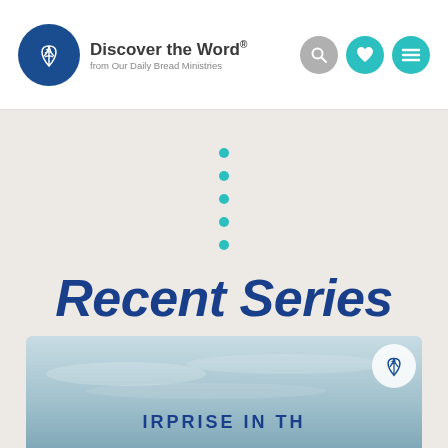Discover the Word. from Our Daily Bread Ministries
[Figure (illustration): Decorative vertical dotted line with 5 teal circles]
Recent Series
[Figure (photo): Partial book/series cover with text 'IRPRISE IN TH' visible, light blue sky background with a small logo in top right corner]